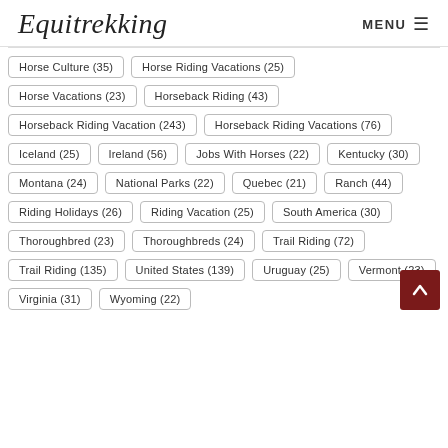Equitrekking | MENU
Horse Culture (35)
Horse Riding Vacations (25)
Horse Vacations (23)
Horseback Riding (43)
Horseback Riding Vacation (243)
Horseback Riding Vacations (76)
Iceland (25)
Ireland (56)
Jobs With Horses (22)
Kentucky (30)
Montana (24)
National Parks (22)
Quebec (21)
Ranch (44)
Riding Holidays (26)
Riding Vacation (25)
South America (30)
Thoroughbred (23)
Thoroughbreds (24)
Trail Riding (72)
Trail Riding (135)
United States (139)
Uruguay (25)
Vermont (23)
Virginia (31)
Wyoming (22)